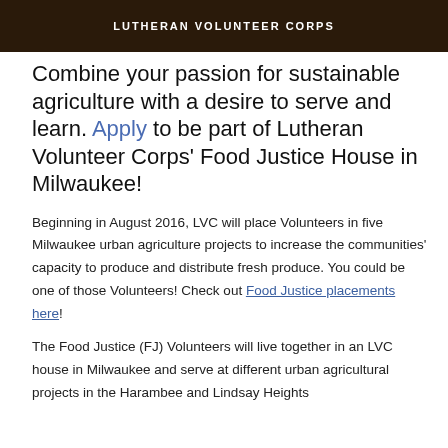[Figure (photo): Dark banner image with Lutheran Volunteer Corps logo/text on a textured dark background]
Combine your passion for sustainable agriculture with a desire to serve and learn. Apply to be part of Lutheran Volunteer Corps' Food Justice House in Milwaukee!
Beginning in August 2016, LVC will place Volunteers in five Milwaukee urban agriculture projects to increase the communities' capacity to produce and distribute fresh produce. You could be one of those Volunteers! Check out Food Justice placements here!
The Food Justice (FJ) Volunteers will live together in an LVC house in Milwaukee and serve at different urban agricultural projects in the Harambee and Lindsay Heights